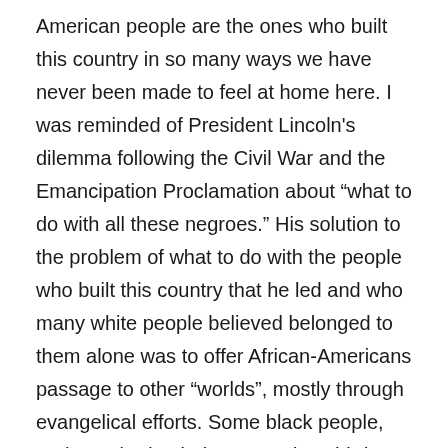American people are the ones who built this country in so many ways we have never been made to feel at home here. I was reminded of President Lincoln's dilemma following the Civil War and the Emancipation Proclamation about “what to do with all these negroes.” His solution to the problem of what to do with the people who built this country that he led and who many white people believed belonged to them alone was to offer African-Americans passage to other “worlds”, mostly through evangelical efforts. Some black people, perhaps tired to being treated as third class citizens, took him up on his offer and sailed to Liberia, an American-controlled territory; others to Sierra Leone, and still others to the first free black nation in the western hemisphere, Haiti. Needless to say, things did not go well for the majority, who took the racist attitudes that had learned from their oppressors to their new homes. But